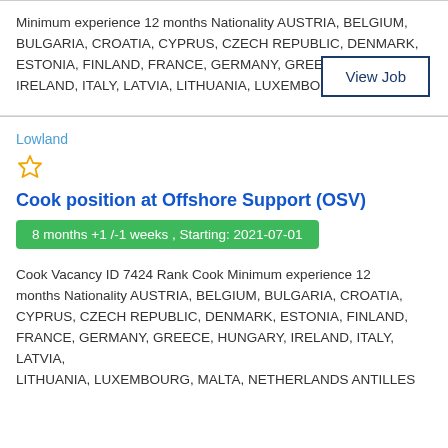Minimum experience 12 months Nationality AUSTRIA, BELGIUM, BULGARIA, CROATIA, CYPRUS, CZECH REPUBLIC, DENMARK, ESTONIA, FINLAND, FRANCE, GERMANY, GREECE, HUNGARY, IRELAND, ITALY, LATVIA, LITHUANIA, LUXEMBOURG, MALTA,...
View Job
Lowland
Cook position at Offshore Support (OSV)
8 months +1 /-1 weeks , Starting: 2021-07-01
Cook Vacancy ID 7424 Rank Cook Minimum experience 12 months Nationality AUSTRIA, BELGIUM, BULGARIA, CROATIA, CYPRUS, CZECH REPUBLIC, DENMARK, ESTONIA, FINLAND, FRANCE, GERMANY, GREECE, HUNGARY, IRELAND, ITALY, LATVIA, LITHUANIA, LUXEMBOURG, MALTA, NETHERLANDS ANTILLES